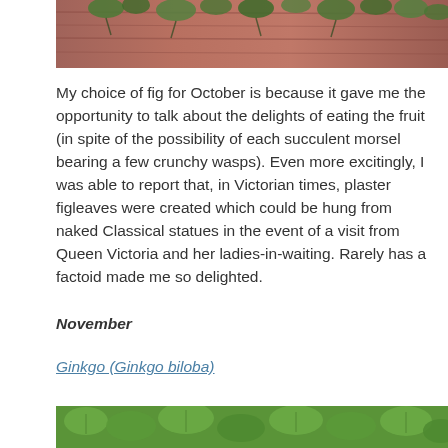[Figure (photo): Partial photo at top of page showing a wooden fence with vines/ivy leaves, pink/red tones]
My choice of fig for October is because it gave me the opportunity to talk about the delights of eating the fruit (in spite of the possibility of each succulent morsel bearing a few crunchy wasps). Even more excitingly, I was able to report that, in Victorian times, plaster figleaves were created which could be hung from naked Classical statues in the event of a visit from Queen Victoria and her ladies-in-waiting. Rarely has a factoid made me so delighted.
November
Ginkgo (Ginkgo biloba)
[Figure (photo): Partial photo at bottom of page showing green ginkgo leaves]